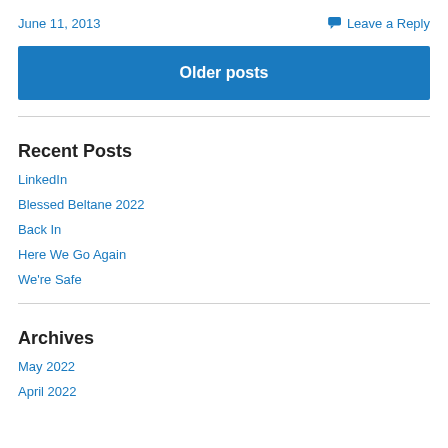June 11, 2013
Leave a Reply
Older posts
Recent Posts
LinkedIn
Blessed Beltane 2022
Back In
Here We Go Again
We're Safe
Archives
May 2022
April 2022